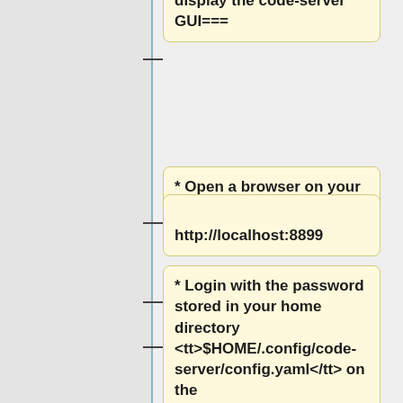local browser to display the code-server GUI===
* Open a browser on your local computer and connect to the URL
http://localhost:8899
* Login with the password stored in your home directory <tt>$HOME/.config/code-server/config.yaml</tt> on the